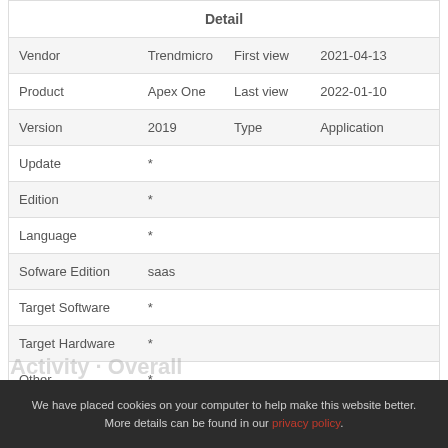| Detail |  |  |  |
| --- | --- | --- | --- |
| Vendor | Trendmicro | First view | 2021-04-13 |
| Product | Apex One | Last view | 2022-01-10 |
| Version | 2019 | Type | Application |
| Update | * |  |  |
| Edition | * |  |  |
| Language | * |  |  |
| Sofware Edition | saas |  |  |
| Target Software | * |  |  |
| Target Hardware | * |  |  |
| Other | * |  |  |
| CPE Product | cpe:2.3:a:trendmicro:apex_one |  |  |
We have placed cookies on your computer to help make this website better. More details can be found in our privacy policy.